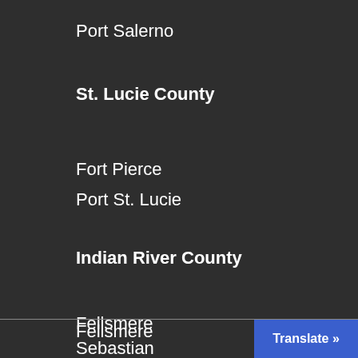Port Salerno
St. Lucie County
Fort Pierce
Port St. Lucie
Indian River County
Fellsmere
Sebastian
Vero Beach
Translate »